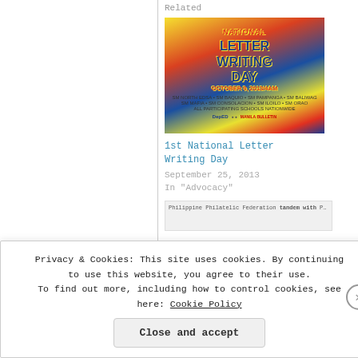Related
[Figure (photo): National Letter Writing Day poster with colorful background, red/blue/yellow design, DepEd branding, October 9, 2013/4AM]
1st National Letter Writing Day
September 25, 2013
In "Advocacy"
[Figure (screenshot): Partial image showing Philippine Philatelic Federation text strip]
Privacy & Cookies: This site uses cookies. By continuing to use this website, you agree to their use. To find out more, including how to control cookies, see here: Cookie Policy
Close and accept